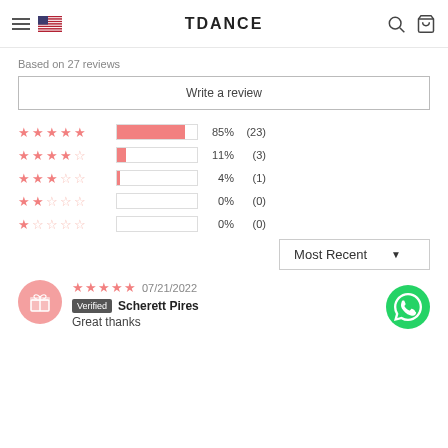TDANCE
Based on 27 reviews
Write a review
[Figure (bar-chart): Star rating distribution]
Most Recent
07/21/2022 Verified Scherett Pires
Great thanks